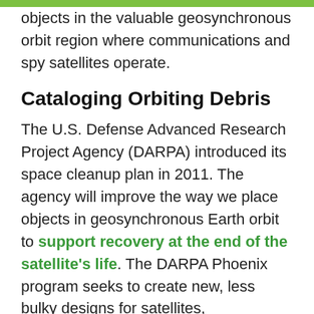objects in the valuable geosynchronous orbit region where communications and spy satellites operate.
Cataloging Orbiting Debris
The U.S. Defense Advanced Research Project Agency (DARPA) introduced its space cleanup plan in 2011. The agency will improve the way we place objects in geosynchronous Earth orbit to support recovery at the end of the satellite's life. The DARPA Phoenix program seeks to create new, less bulky designs for satellites,